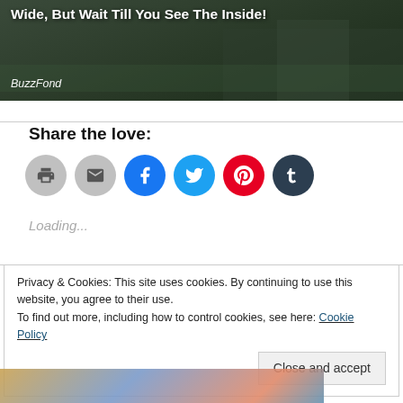[Figure (photo): Dark background image of a house exterior with article title 'Wide, But Wait Till You See The Inside!' and source label 'BuzzFond' overlaid in white text]
Share the love:
[Figure (infographic): Row of six social sharing icon circles: print (gray), email (gray), Facebook (blue), Twitter (cyan), Pinterest (red), Tumblr (dark blue-gray)]
Loading...
Privacy & Cookies: This site uses cookies. By continuing to use this website, you agree to their use.
To find out more, including how to control cookies, see here: Cookie Policy
Close and accept
[Figure (photo): Colorful image partially visible at bottom of page]